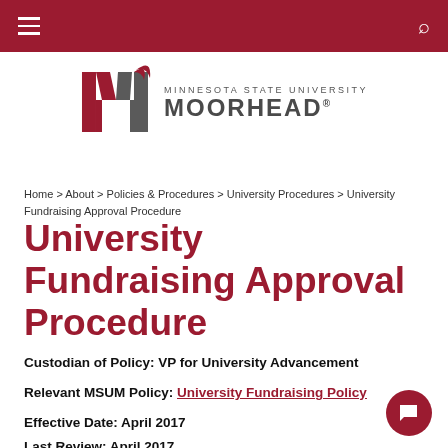Minnesota State University Moorhead — navigation bar
[Figure (logo): Minnesota State University Moorhead logo with stylized M mark and text]
Home > About > Policies & Procedures > University Procedures > University Fundraising Approval Procedure
University Fundraising Approval Procedure
Custodian of Policy: VP for University Advancement
Relevant MSUM Policy: University Fundraising Policy
Effective Date: April 2017
Last Review: April 2017